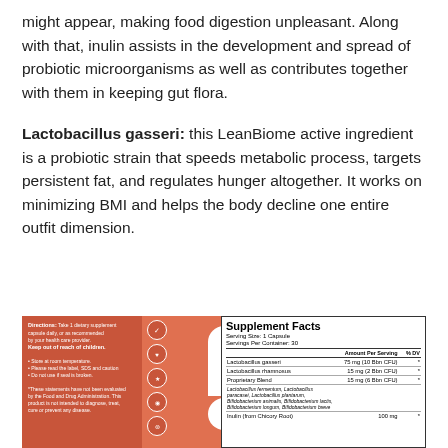might appear, making food digestion unpleasant. Along with that, inulin assists in the development and spread of probiotic microorganisms as well as contributes together with them in keeping gut flora.
Lactobacillus gasseri: this LeanBiome active ingredient is a probiotic strain that speeds metabolic process, targets persistent fat, and regulates hunger altogether. It works on minimizing BMI and helps the body decline one entire outfit dimension.
[Figure (photo): Product image showing a supplement bottle label with salmon/orange background. Left panel shows usage directions and warnings. Center shows a white capsule/bar shape logo. Right panel shows Supplement Facts table with serving size 1 Capsule, servings per container 30, and ingredient list including Lactobacillus gasseri 75mg (10 Billion CFU), Lactobacillus rhamnosus 15mg (2 Billion CFU), Proprietary Blend 15mg (6 Billion CFU), and other probiotic strains. Inulin from Chicory Root 100mg also listed.]